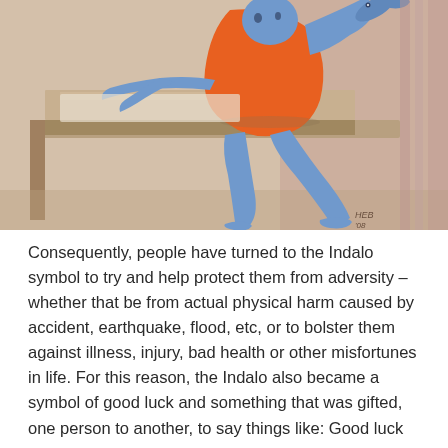[Figure (illustration): A painting of a blue-skinned stylized human figure seated at a wooden table, wearing an orange garment, holding a blue fish with one arm raised. The figure has elongated limbs in a cubist/folk-art style. Artist signature 'HEB' and date visible in lower right corner. Painted in warm earth tones, blue, and orange.]
Consequently, people have turned to the Indalo symbol to try and help protect them from adversity – whether that be from actual physical harm caused by accident, earthquake, flood, etc, or to bolster them against illness, injury, bad health or other misfortunes in life. For this reason, the Indalo also became a symbol of good luck and something that was gifted, one person to another, to say things like: Good luck at